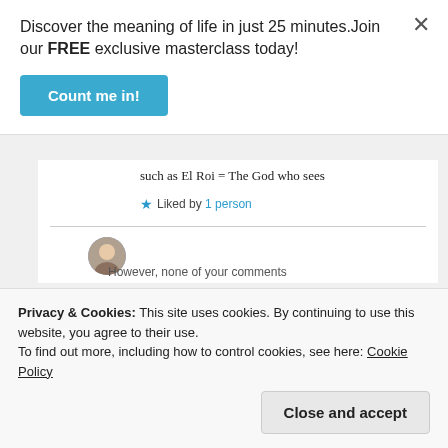Discover the meaning of life in just 25 minutes.Join our FREE exclusive masterclass today!
Count me in!
such as El Roi = The God who sees
★ Liked by 1 person
Privacy & Cookies: This site uses cookies. By continuing to use this website, you agree to their use.
To find out more, including how to control cookies, see here: Cookie Policy
Close and accept
However, none of your comments